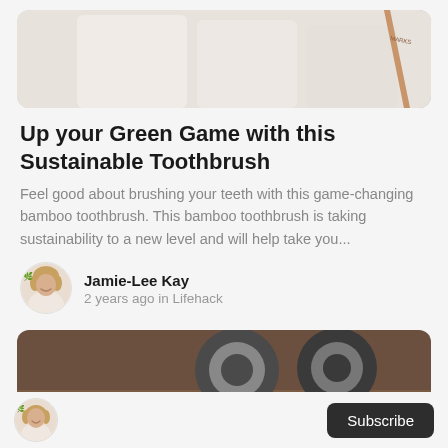[Figure (photo): Top cropped image showing a light pink/beige background with white boxes and a copper/rose gold pencil or similar item]
Up your Green Game with this Sustainable Toothbrush
Feel good about brushing your teeth with this game-changing bamboo toothbrush. This bamboo toothbrush is taking sustainability to a new level and will help take you...
Jamie-Lee Kay
2 years ago in Lifehack
[Figure (photo): Image of washi tape rolls and markers/pens on a wooden surface with sticky notes]
[Figure (photo): Small circular avatar of Jamie-Lee Kay woman with blonde hair smiling]
Subscribe